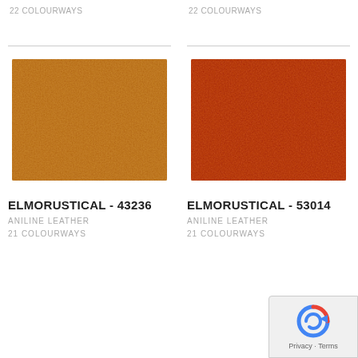22 COLOURWAYS
22 COLOURWAYS
[Figure (photo): Tan/golden aniline leather swatch showing pebbled texture]
ELMORUSTICAL - 43236
ANILINE LEATHER
21 COLOURWAYS
[Figure (photo): Red/burnt orange aniline leather swatch showing pebbled texture]
ELMORUSTICAL - 53014
ANILINE LEATHER
21 COLOURWAYS